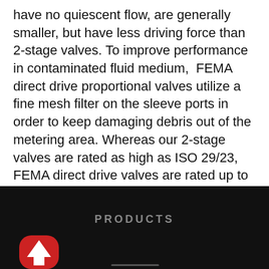have no quiescent flow, are generally smaller, but have less driving force than 2-stage valves. To improve performance in contaminated fluid medium, FEMA direct drive proportional valves utilize a fine mesh filter on the sleeve ports in order to keep damaging debris out of the metering area. Whereas our 2-stage valves are rated as high as ISO 29/23, FEMA direct drive valves are rated up to ISO 25/20. Since most hydraulic systems operate at or below levels of ISO 19/16, FEMA direct drive valves are more than adequate to exceed performance needs.
PRODUCTS